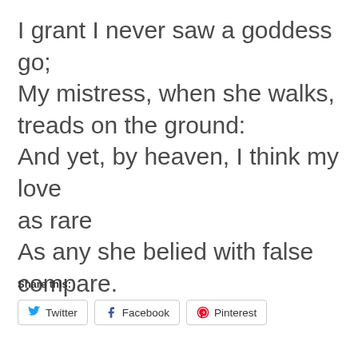I grant I never saw a goddess go;
My mistress, when she walks, treads on the ground:
And yet, by heaven, I think my love as rare
As any she belied with false compare.
Share this:
Twitter  Facebook  Pinterest